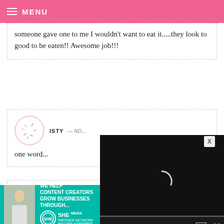MENU
someone gave one to me I wouldn't want to eat it.....they look to good to be eaten!! Awesome job!!!
ISTY — NO...  one word...
LEAH S —
You are such an artist!
[Figure (screenshot): Embedded video player overlay showing black screen with loading spinner, time 13:52, mute, CC, and fullscreen controls]
[Figure (infographic): Ad banner: WE HELP CONTENT CREATORS GROW BUSINESSES THROUGH... SHE PARTNER NETWORK BECOME A MEMBER. LEARN MORE button.]